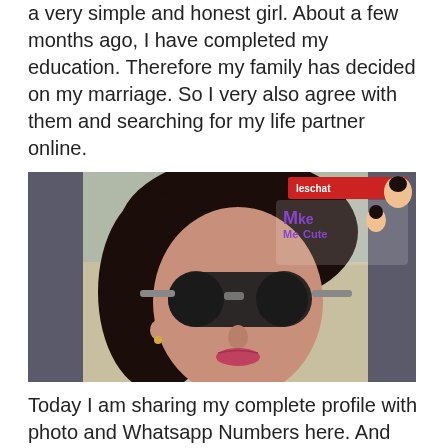a very simple and honest girl. About a few months ago, I have completed my education. Therefore my family has decided on my marriage. So I very also agree with them and searching for my life partner online.
[Figure (photo): A young woman with dark hair pulled back, wearing large dark sunglasses and a patterned black and white top, smiling slightly. Background shows a beach/river area. A watermark logo 'Make Me Cute' with cartoon characters appears in the top right corner.]
Today I am sharing my complete profile with photo and Whatsapp Numbers here. And hope that I will find my life partner very soon here. After sharing my profile, I waited for a few days and then I started to get a result. So many people from all around the world sent me a friend request on my